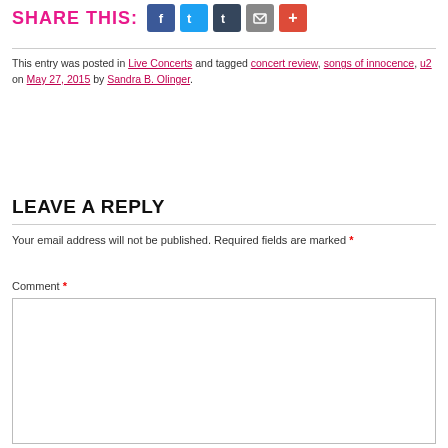[Figure (infographic): SHARE THIS: row of social media icon buttons for Facebook, Twitter, Tumblr, Email, and Google+]
This entry was posted in Live Concerts and tagged concert review, songs of innocence, u2 on May 27, 2015 by Sandra B. Olinger.
LEAVE A REPLY
Your email address will not be published. Required fields are marked *
Comment *